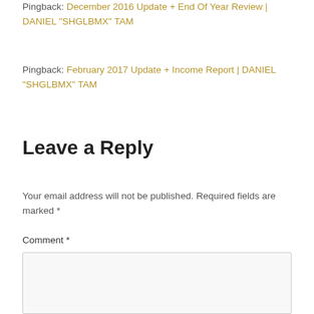Pingback: December 2016 Update + End Of Year Review | DANIEL "SHGLBMX" TAM
Pingback: February 2017 Update + Income Report | DANIEL "SHGLBMX" TAM
Leave a Reply
Your email address will not be published. Required fields are marked *
Comment *